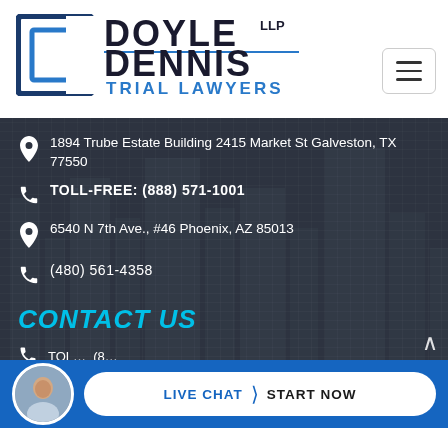[Figure (logo): Doyle Dennis LLP Trial Lawyers logo with stylized D icon in blue and dark navy wordmark]
1894 Trube Estate Building 2415 Market St Galveston, TX 77550
TOLL-FREE: (888) 571-1001
6540 N 7th Ave., #46 Phoenix, AZ 85013
(480) 561-4358
CONTACT US
LIVE CHAT  START NOW